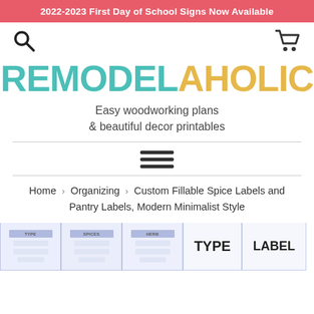2022-2023 First Day of School Signs Now Available
[Figure (logo): Search icon (magnifying glass) on left, shopping cart icon on right]
REMODELAHOLIC
Easy woodworking plans & beautiful decor printables
[Figure (other): Hamburger menu icon (three horizontal lines)]
Home › Organizing › Custom Fillable Spice Labels and Pantry Labels, Modern Minimalist Style
[Figure (other): Preview strip showing spice label thumbnails including TYPE and LABEL boxes]